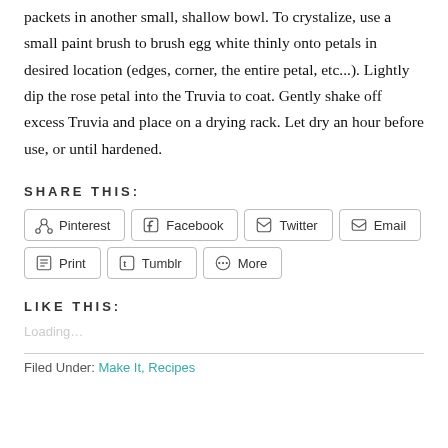packets in another small, shallow bowl. To crystalize, use a small paint brush to brush egg white thinly onto petals in desired location (edges, corner, the entire petal, etc...). Lightly dip the rose petal into the Truvia to coat. Gently shake off excess Truvia and place on a drying rack. Let dry an hour before use, or until hardened.
SHARE THIS:
Pinterest  Facebook  Twitter  Email  Print  Tumblr  More
LIKE THIS:
Loading...
Filed Under: Make It, Recipes